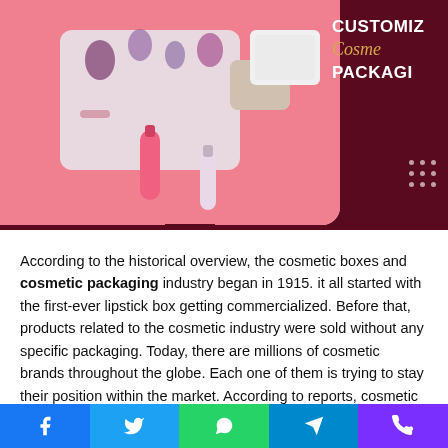[Figure (photo): Cosmetic packaging promotional banner showing makeup products on pink background with text 'CUSTOMIZE Cosme PACKAG' on dark maroon background]
According to the historical overview, the cosmetic boxes and cosmetic packaging industry began in 1915. it all started with the first-ever lipstick box getting commercialized. Before that, products related to the cosmetic industry were sold without any specific packaging. Today, there are millions of cosmetic brands throughout the globe. Each one of them is trying to stay their position within the market. According to reports, cosmetic boxes and packaging play an important role in all of